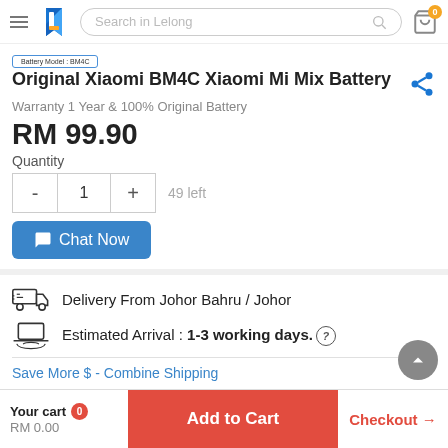Search in Lelong
[Figure (screenshot): Product image badge showing Battery Model: BM4C]
Original Xiaomi BM4C Xiaomi Mi Mix Battery
Warranty 1 Year & 100% Original Battery
RM 99.90
Quantity
- 1 + 49 left
Chat Now
Delivery From Johor Bahru / Johor
Estimated Arrival : 1-3 working days.
Save More $ - Combine Shipping
Your cart 0 RM 0.00 | Add to Cart | Checkout →